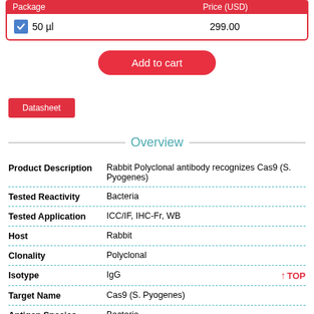| Package | Price (USD) |
| --- | --- |
| ☑ 50 µl | 299.00 |
Add to cart
Datasheet
Overview
| Field | Value |
| --- | --- |
| Product Description | Rabbit Polyclonal antibody recognizes Cas9 (S. Pyogenes) |
| Tested Reactivity | Bacteria |
| Tested Application | ICC/IF, IHC-Fr, WB |
| Host | Rabbit |
| Clonality | Polyclonal |
| Isotype | IgG |
| Target Name | Cas9 (S. Pyogenes) |
| Antigen Species | Bacteria |